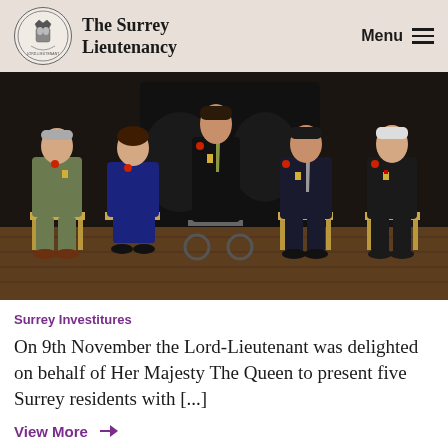The Surrey Lieutenancy — Menu
[Figure (photo): Five people seated in a row wearing formal attire with medals/decorations and red poppy pins, posed in an ornate indoor room with wooden floors. From left: older man in green tweed suit, woman in navy dress, tall man in dark suit in centre, younger man in dark suit, older man in dark suit on far right.]
Surrey Investitures
On 9th November the Lord-Lieutenant was delighted on behalf of Her Majesty The Queen to present five Surrey residents with [...]
View More →